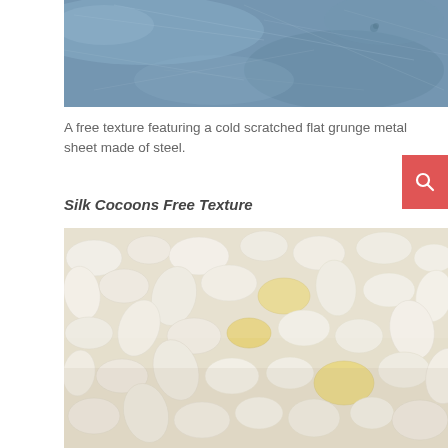[Figure (photo): A blue-gray scratched grunge metal sheet texture with surface marks and scratches visible across the entire surface.]
A free texture featuring a cold scratched flat grunge metal sheet made of steel.
Silk Cocoons Free Texture
[Figure (photo): Close-up photo of silk cocoons — small oval-shaped pods mostly white/cream colored with a few yellowish ones scattered among them, filling the entire frame.]